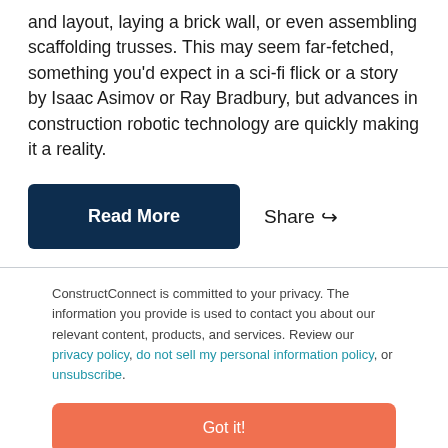and layout, laying a brick wall, or even assembling scaffolding trusses. This may seem far-fetched, something you'd expect in a sci-fi flick or a story by Isaac Asimov or Ray Bradbury, but advances in construction robotic technology are quickly making it a reality.
Read More | Share
ConstructConnect is committed to your privacy. The information you provide is used to contact you about our relevant content, products, and services. Review our privacy policy, do not sell my personal information policy, or unsubscribe.
Got it!